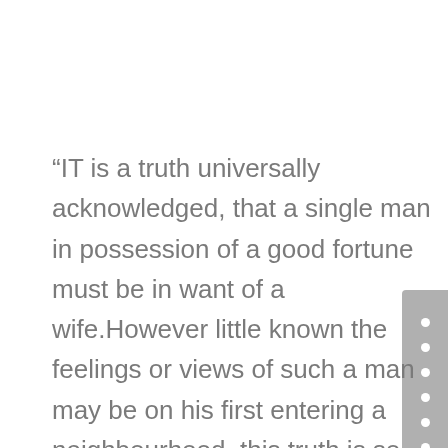“IT is a truth universally acknowledged, that a single man in possession of a good fortune must be in want of a wife.However little known the feelings or views of such a man may be on his first entering a neighbourhood, this truth is so well fixed in the minds of the surrounding families, that he is considered as the rightful property of some one or other of their daughters.” It is also wordy, full of adjectives and seems to be concerned with a boring topic: a male visitor to a rural village. What